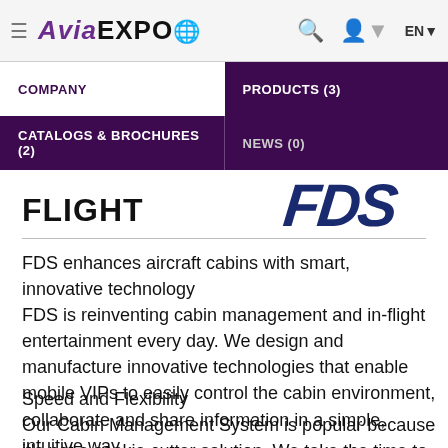AviaEXPO — EN
COMPANY | PRODUCTS (3)
CATALOGS & BROCHURES (2) | NEWS (0)
[Figure (logo): FDS company logo in dark blue italic bold text]
FLIGHT
FDS enhances aircraft cabins with smart, innovative technology
FDS is reinventing cabin management and in-flight entertainment every day. We design and manufacture innovative technologies that enable mobile VIPs to easily control the cabin environment, collaborate and share information in a simple, intuitive way.
Speed and Flexibility
Our Cabin Management System is popular because it's not a cookie cutter solution. We take the time to